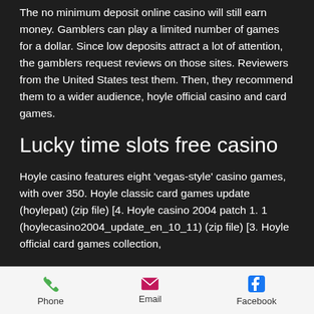The no minimum deposit online casino will still earn money. Gamblers can play a limited number of games for a dollar. Since low deposits attract a lot of attention, the gamblers request reviews on those sites. Reviewers from the United States test them. Then, they recommend them to a wider audience, hoyle official casino and card games.
Lucky time slots free casino
Hoyle casino features eight 'vegas-style' casino games, with over 350. Hoyle classic card games update (hoylepat) (zip file) [4. Hoyle casino 2004 patch 1. 1 (hoylecasino2004_update_en_10_11) (zip file) [3. Hoyle official card games collection,
Phone  Email  Facebook